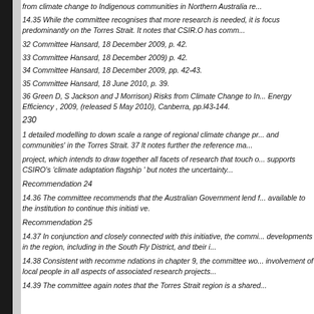from climate change to Indigenous communities in Northern Australia re...
14.35 While the committee recognises that more research is needed, it is focus predominantly on the Torres Strait. It notes that CSIR.O has comm...
32 Committee Hansard, 18 December 2009, p. 42.
33 Committee Hansard, 18 December 2009) p. 42.
34 Committee Hansard, 18 December 2009, pp. 42-43.
35 Committee Hansard, 18 June 2010, p. 39.
36 Green D, S Jackson and J Morrison) Risks from Climate Change to In... Energy Efficiency , 2009, (released 5 May 2010), Canberra, pp.l43-144.
230
1 detailed modelling to down scale a range of regional climate change pr... and communities' in the Torres Strait. 37 It notes further the reference ma...
project, which intends to draw together all facets of research that touch o... supports CSIRO's 'climate adaptation flagship ' but notes the uncertainty...
Recommendation 24
14.36 The committee recommends that the Australian Government lend f... available to the institution to continue this initiati ve.
Recommendation 25
14.37 In conjunction and closely connected with this initiative, the commi... developments in the region, including in the South Fly District, and tbeir i...
14.38 Consistent with recomme ndations in chapter 9, the committee wo... involvement of local people in all aspects of associated research projects...
14.39 The committee again notes that the Torres Strait region is a shared...